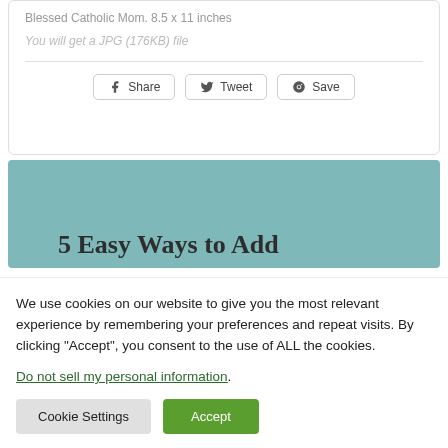Blessed Catholic Mom. 8.5 x 11 inches
You will get a JPG (176KB) file
[Figure (screenshot): Social share buttons: Share (Facebook), Tweet (Twitter), Save (Pinterest)]
5 Easy Ways to Add
We use cookies on our website to give you the most relevant experience by remembering your preferences and repeat visits. By clicking “Accept”, you consent to the use of ALL the cookies.
Do not sell my personal information.
[Figure (screenshot): Cookie settings buttons: Cookie Settings and Accept]